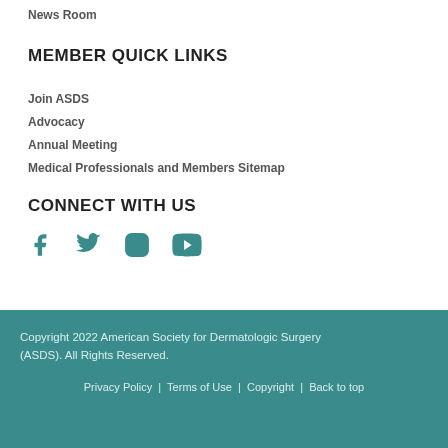News Room
MEMBER QUICK LINKS
Join ASDS
Advocacy
Annual Meeting
Medical Professionals and Members Sitemap
CONNECT WITH US
[Figure (illustration): Social media icons: Facebook, Twitter, Instagram, YouTube in teal color]
Copyright 2022 American Society for Dermatologic Surgery (ASDS). All Rights Reserved.
Privacy Policy | Terms of Use | Copyright | Back to top